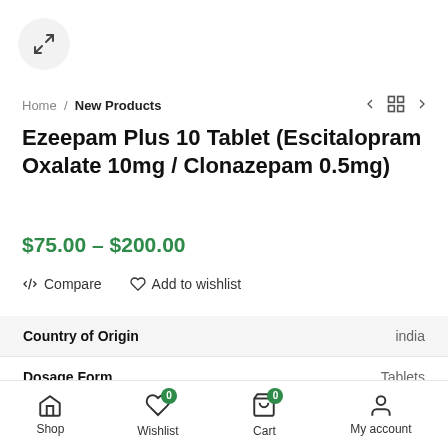[Figure (other): Expand/fullscreen button (circle with arrows icon)]
Home / New Products
Ezeepam Plus 10 Tablet (Escitalopram Oxalate 10mg / Clonazepam 0.5mg)
$75.00 – $200.00
Compare   Add to wishlist
|  |  |
| --- | --- |
| Country of Origin | india |
| Dosage Form | Tablets |
| Generic Name | Clonaz… |
| Indication | Anxiety disorder |
Shop   Wishlist 0   Cart 0   My account